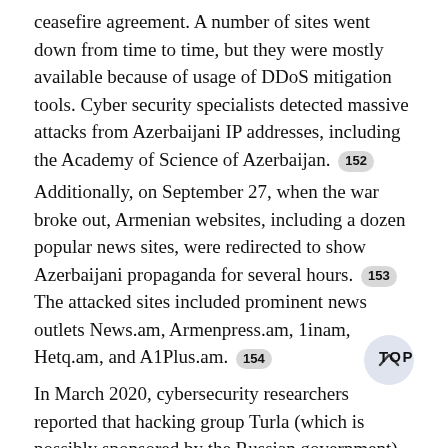ceasefire agreement. A number of sites went down from time to time, but they were mostly available because of usage of DDoS mitigation tools. Cyber security specialists detected massive attacks from Azerbaijani IP addresses, including the Academy of Science of Azerbaijan. [152]
Additionally, on September 27, when the war broke out, Armenian websites, including a dozen popular news sites, were redirected to show Azerbaijani propaganda for several hours. [153] The attacked sites included prominent news outlets News.am, Armenpress.am, 1inam, Hetq.am, and A1Plus.am. [154]
In March 2020, cybersecurity researchers reported that hacking group Turla (which is possibly sponsored by the Russian government) targeted four Armenian websites—those of the consular section of the embassy of Armenia